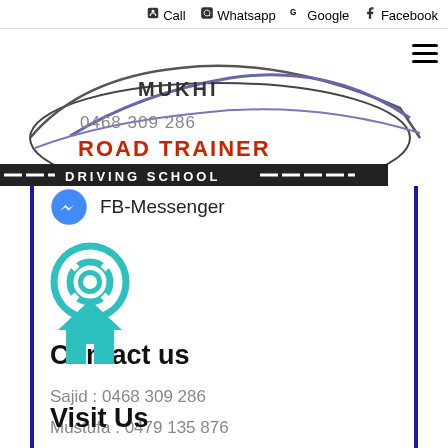Call  Whatsapp  Google  Facebook
[Figure (logo): Mukhi Road Trainer Driving School logo with car silhouette and phone number 0468 309 286]
FB-Messenger
[Figure (illustration): Teal/cyan circular life-saver / support icon]
Contact us
Sajid : 0468 309 286
Mustufa : 0479 135 876
[Figure (illustration): Teal/cyan house / home icon]
Visit Us